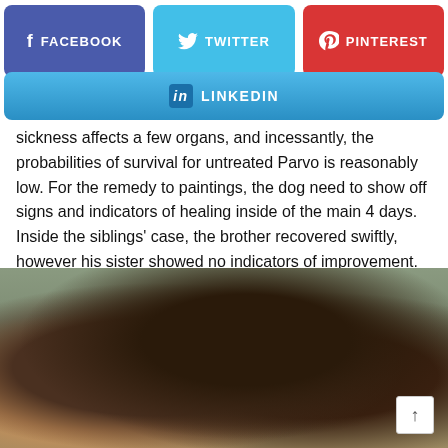[Figure (screenshot): Social media share buttons: Facebook (purple), Twitter (light blue), Pinterest (red), LinkedIn (blue gradient bar)]
sickness affects a few organs, and incessantly, the probabilities of survival for untreated Parvo is reasonably low. For the remedy to paintings, the dog need to show off signs and indicators of healing inside of the main 4 days. Inside the siblings' case, the brother recovered swiftly, however his sister showed no indicators of improvement.
[Figure (photo): Close-up photo of a dark-furred puppy being held by a person's hand, set against a muted green/grey background.]